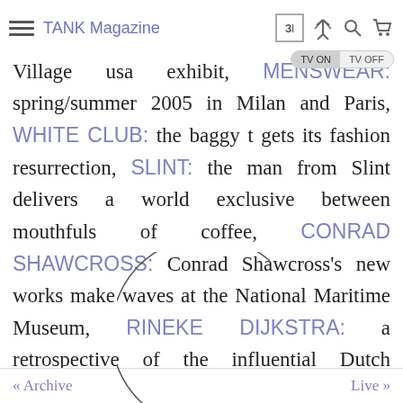TANK Magazine
Village usa exhibit, MENSWEAR: spring/summer 2005 in Milan and Paris, WHITE CLUB: the baggy t gets its fashion resurrection, SLINT: the man from Slint delivers a world exclusive between mouthfuls of coffee, CONRAD SHAWCROSS: Conrad Shawcross's new works make waves at the National Maritime Museum, RINEKE DIJKSTRA: a retrospective of the influential Dutch photographer unfolds in Paris, ALPHA MALE: Akira the Don talks about life, ladybirds and his brilliant musical future, RUNNING ON DIESEL: at the International Talent Support show in Trieste, Tank sees the
« Archive   Live »